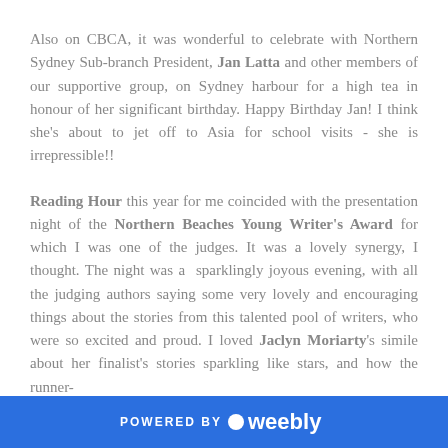Also on CBCA, it was wonderful to celebrate with Northern Sydney Sub-branch President, Jan Latta and other members of our supportive group, on Sydney harbour for a high tea in honour of her significant birthday. Happy Birthday Jan! I think she's about to jet off to Asia for school visits - she is irrepressible!!
Reading Hour this year for me coincided with the presentation night of the Northern Beaches Young Writer's Award for which I was one of the judges. It was a lovely synergy, I thought. The night was a sparklingly joyous evening, with all the judging authors saying some very lovely and encouraging things about the stories from this talented pool of writers, who were so excited and proud. I loved Jaclyn Moriarty's simile about her finalist's stories sparkling like stars, and how the runner-
POWERED BY weebly